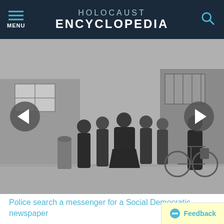HOLOCAUST ENCYCLOPEDIA
[Figure (photo): Black and white photograph of police searching a messenger at the entrance to a building. Multiple people in dark coats are grouped together on a cobblestone street in front of a brick building. A bicycle is visible on the right side.]
Police search a messenger for a Social Democratic newspaper
Police search a messenger at the entrance to the building where Vorwaerts, a Social-Democratic Party newspaper, was published. The building was subsequently occupied during the suppression of the political left wing in Germany that was carried out in response to the Reichstag Fire. Berlin, Germany, March